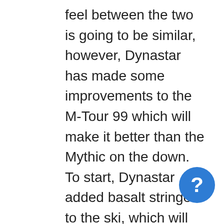feel between the two is going to be similar, however, Dynastar has made some improvements to the M-Tour 99 which will make it better than the Mythic on the down. To start, Dynastar added basalt stringers to the ski, which will offer a more damp feel, especially in variable snow conditions. They also tweaked the sidecut a bit to give the M-Tour 99 a slightly longer turn radius which helps with stability at speed compared to the older Mythic (the turn radius is still relatively short when compared to other skis, though). Overall, while both have a surfy feel and are super fun in soft snow the M-Tour with its additions make it the better performer in h snow. Please let us know if you have any other
[Figure (other): Blue circular help button with a white question mark]